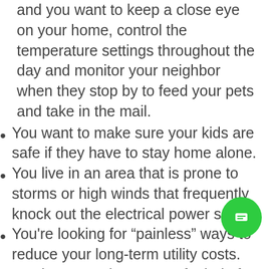and you want to keep a close eye on your home, control the temperature settings throughout the day and monitor your neighbor when they stop by to feed your pets and take in the mail.
You want to make sure your kids are safe if they have to stay home alone.
You live in an area that is prone to storms or high winds that frequently knock out the electrical power supply.
You're looking for “painless” ways to reduce your long-term utility costs.
You just want the peace of mind of knowing you can watch your property whenever you wish or that you don’t have to worry about an intruder cutting your power supply.
Cellular Monitoring Home